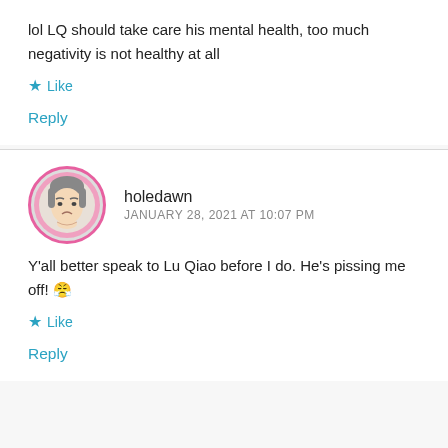lol LQ should take care his mental health, too much negativity is not healthy at all
★ Like
Reply
holedawn
JANUARY 28, 2021 AT 10:07 PM
Y'all better speak to Lu Qiao before I do. He's pissing me off! 😤
★ Like
Reply